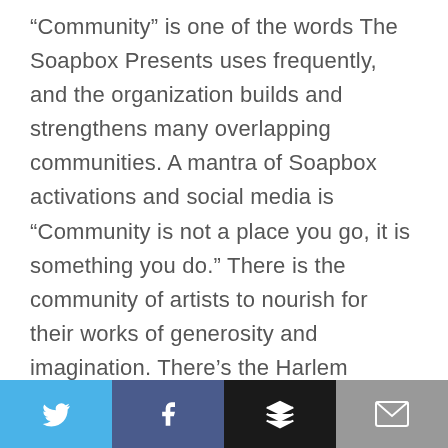“Community” is one of the words The Soapbox Presents uses frequently, and the organization builds and strengthens many overlapping communities. A mantra of Soapbox activations and social media is “Community is not a place you go, it is something you do.” There is the community of artists to nourish for their works of generosity and imagination. There's the Harlem community on the street, where neighbors set up with lawn chairs an hour before the concert. There is the wider NYC Black community. And although The Soapbox Presents speaks directly to and for Black and brown listeners, there is love left over for anyone to participate.
[Figure (infographic): Social share bar with four buttons: Twitter (blue bird icon), Facebook (blue f icon), Buffer (black stacked layers icon), Email (gray envelope icon)]